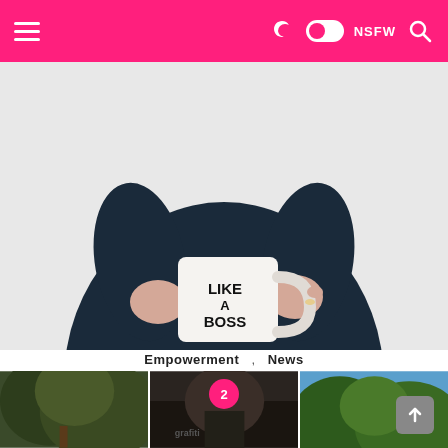≡   )) ● NSFW 🔍
[Figure (photo): Person wearing a dark navy sweater holding a white mug that reads 'LIKE A BOSS' in bold black lettering]
Empowerment , News
Entrepreneurship: Feeling Too Inspired to Be Your Boss? This Is Your Time to Take Charge!
[Figure (photo): Three thumbnail images at the bottom: leafy trees on the left, graffiti/urban scene in the center, and green trees against blue sky on the right]
2